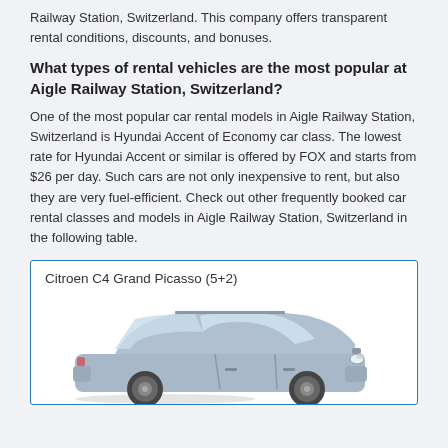Railway Station, Switzerland. This company offers transparent rental conditions, discounts, and bonuses.
What types of rental vehicles are the most popular at Aigle Railway Station, Switzerland?
One of the most popular car rental models in Aigle Railway Station, Switzerland is Hyundai Accent of Economy car class. The lowest rate for Hyundai Accent or similar is offered by FOX and starts from $26 per day. Such cars are not only inexpensive to rent, but also they are very fuel-efficient. Check out other frequently booked car rental classes and models in Aigle Railway Station, Switzerland in the following table.
[Figure (photo): Citroen C4 Grand Picasso (5+2) car photo inside a bordered card]